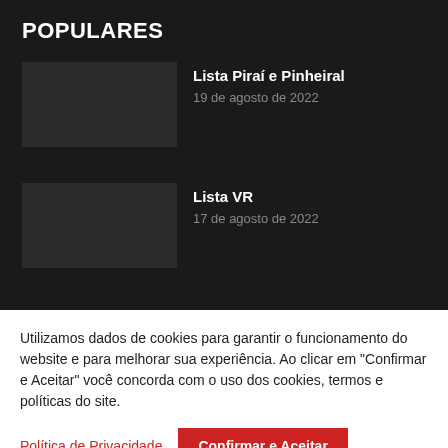POPULARES
Lista Piraí e Pinheiral
19 de agosto de 2022
Lista VR
17 de agosto de 2022
Utilizamos dados de cookies para garantir o funcionamento do website e para melhorar sua experiência. Ao clicar em "Confirmar e Aceitar" você concorda com o uso dos cookies, termos e políticas do site.
Política de Privacidade
Confirmar e Aceitar